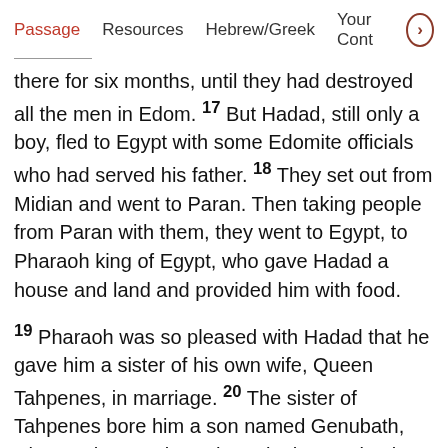Passage  Resources  Hebrew/Greek  Your Cont >
there for six months, until they had destroyed all the men in Edom. 17 But Hadad, still only a boy, fled to Egypt with some Edomite officials who had served his father. 18 They set out from Midian and went to Paran. Then taking people from Paran with them, they went to Egypt, to Pharaoh king of Egypt, who gave Hadad a house and land and provided him with food.
19 Pharaoh was so pleased with Hadad that he gave him a sister of his own wife, Queen Tahpenes, in marriage. 20 The sister of Tahpenes bore him a son named Genubath, whom Tahpenes brought up in the royal palace. There Genubath lived with Pharaoh's own children.
21 While he was in Egypt, Hadad heard that David